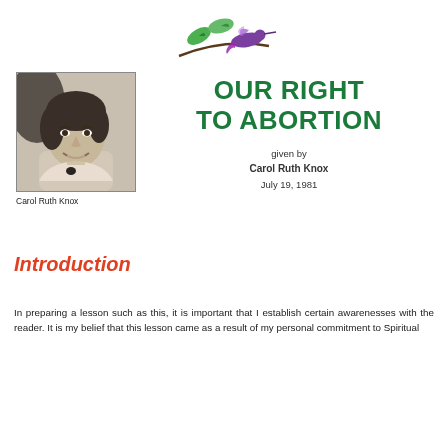[Figure (illustration): Decorative logo: a hummingbird with green leaves on a branch, in purple/green colors]
[Figure (photo): Black and white portrait photo of Carol Ruth Knox, a woman with short curly hair, smiling]
Carol Ruth Knox
OUR RIGHT TO ABORTION
given by
Carol Ruth Knox
July 19, 1981
Introduction
In preparing a lesson such as this, it is important that I establish certain awarenesses with the reader. It is my belief that this lesson came as a result of my personal commitment to Spiritual